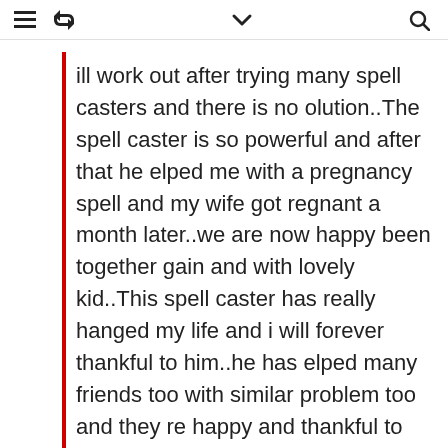≡ ↺ ∨ Q
ill work out after trying many spell casters and there is no olution..The spell caster is so powerful and after that he elped me with a pregnancy spell and my wife got regnant a month later..we are now happy been together gain and with lovely kid..This spell caster has really hanged my life and i will forever thankful to him..he has elped many friends too with similar problem too and they re happy and thankful to him..This man is indeed the most owerful spell caster have ever experienced in life..Am osting this to the Forum in case there is anyone who has imilar problem and still looking for a way out..you can each him here: otisdarko60@yahoo.com... CONTACT THIS GREAT AND POWERFUL SPELL CASTER CALLED OTIS DARKO ... HIS EMAIL ADDRESS IS : tisdarko60@yahoo.com ... CONTACT HIM NOW AND BE